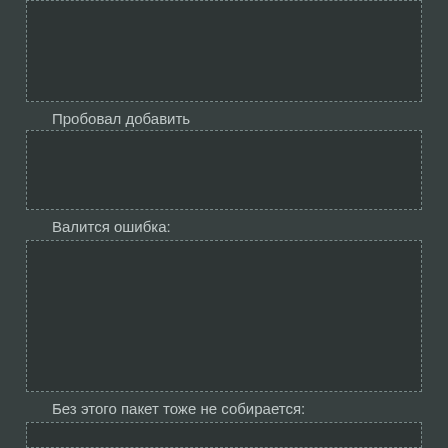[Figure (screenshot): Dark-themed code/text box (partially visible at top of page), dashed border]
Пробовал добавить
[Figure (screenshot): Dark-themed code/text input box with dashed border]
Валится ошибка:
[Figure (screenshot): Dark-themed code/text box with dashed border showing error content area]
Без этого пакет тоже не собирается:
[Figure (screenshot): Dark-themed code/text box with dashed border (extends to bottom of page)]